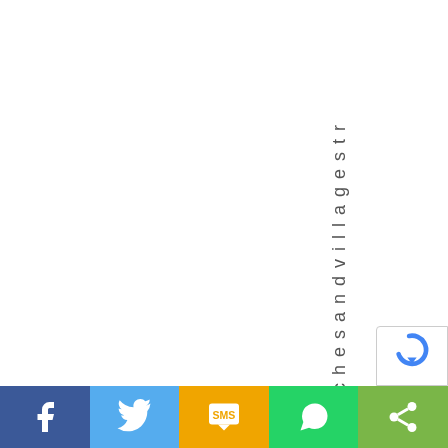achesandvillagestr
[Figure (infographic): Social share bar with icons: Facebook (blue), Twitter (light blue), SMS (yellow/orange), WhatsApp (green), Share (lime green)]